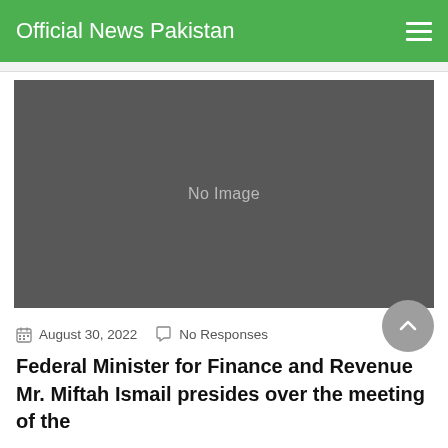Official News Pakistan
[Figure (photo): No Image placeholder — dark grey rectangle]
August 30, 2022   No Responses
Federal Minister for Finance and Revenue Mr. Miftah Ismail presides over the meeting of the